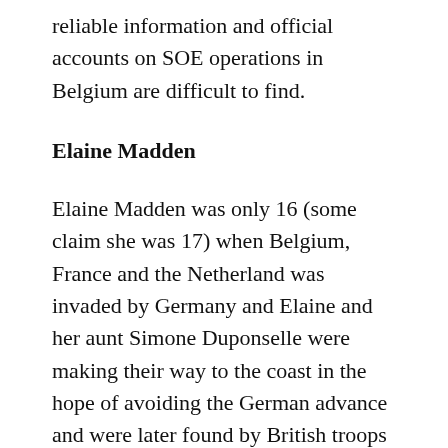reliable information and official accounts on SOE operations in Belgium are difficult to find.
Elaine Madden
Elaine Madden was only 16 (some claim she was 17) when Belgium, France and the Netherland was invaded by Germany and Elaine and her aunt Simone Duponselle were making their way to the coast in the hope of avoiding the German advance and were later found by British troops hiding in a barn, another source said the soldiers passed them in a car and offered them a lift, Irrespective of which version is correct, the soldiers said they would attempt to get them on a boat leaving Dunkirk